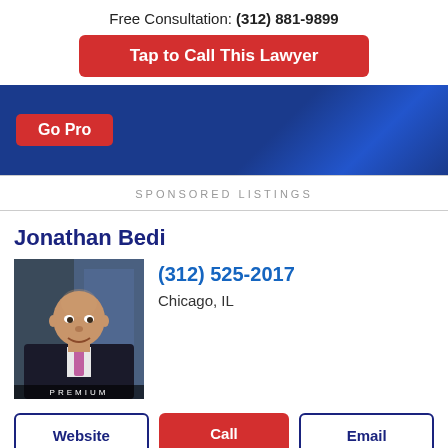Free Consultation: (312) 881-9899
Tap to Call This Lawyer
[Figure (screenshot): Blue banner with red 'Go Pro' button]
SPONSORED LISTINGS
Jonathan Bedi
[Figure (photo): Photo of Jonathan Bedi, a bald man in a dark suit with a pink tie, standing in front of a building. Badge reads PREMIUM.]
(312) 525-2017
Chicago, IL
Website
Call
Email